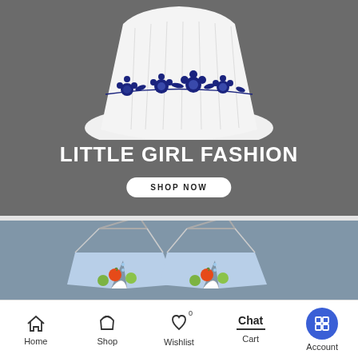[Figure (photo): White flared dress with navy blue floral embroidery border displayed on gray background with text 'LITTLE GIRL FASHION' and 'SHOP NOW' button]
[Figure (photo): Two light blue baby tops/jackets on hangers with colorful fruit/ball embroideries, displayed on gray-blue background]
Home  Shop  Wishlist  Cart  Account